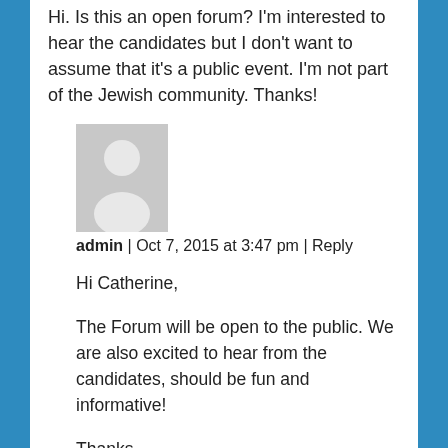Hi. Is this an open forum? I'm interested to hear the candidates but I don't want to assume that it's a public event. I'm not part of the Jewish community. Thanks!
[Figure (illustration): Generic grey avatar placeholder image with silhouette of a person]
admin | Oct 7, 2015 at 3:47 pm | Reply
Hi Catherine,

The Forum will be open to the public. We are also excited to hear from the candidates, should be fun and informative!

Thanks,